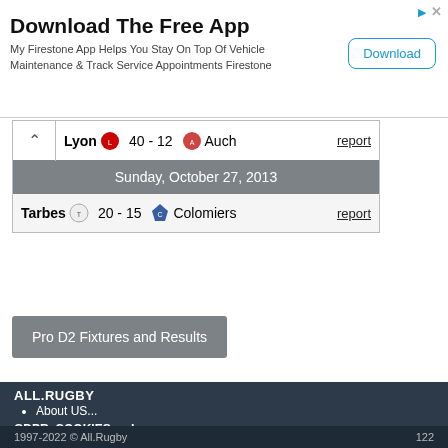[Figure (screenshot): Advertisement banner: 'Download The Free App' with Firestone app description and a Download button]
Lyon 40 - 12 Auch  report
Sunday, October 27, 2013
Tarbes 20 - 15 Colomiers  report
Pro D2 Fixtures and Results
ALL.RUGBY
About US...
GDPR, COOKIES, ... !
Privacy Management Settings
1997-2022 © All.Rugby   122